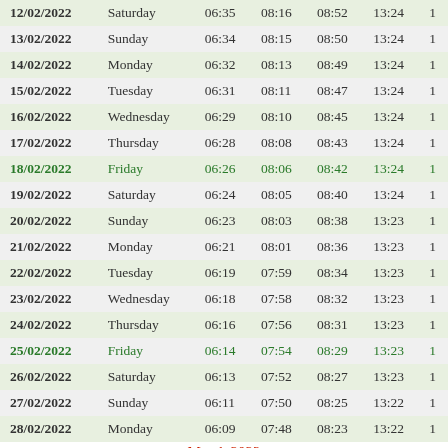| Date | Day | Col3 | Col4 | Col5 | Col6 | Col7 |
| --- | --- | --- | --- | --- | --- | --- |
| 12/02/2022 | Saturday | 06:35 | 08:16 | 08:52 | 13:24 | 1 |
| 13/02/2022 | Sunday | 06:34 | 08:15 | 08:50 | 13:24 | 1 |
| 14/02/2022 | Monday | 06:32 | 08:13 | 08:49 | 13:24 | 1 |
| 15/02/2022 | Tuesday | 06:31 | 08:11 | 08:47 | 13:24 | 1 |
| 16/02/2022 | Wednesday | 06:29 | 08:10 | 08:45 | 13:24 | 1 |
| 17/02/2022 | Thursday | 06:28 | 08:08 | 08:43 | 13:24 | 1 |
| 18/02/2022 | Friday | 06:26 | 08:06 | 08:42 | 13:24 | 1 |
| 19/02/2022 | Saturday | 06:24 | 08:05 | 08:40 | 13:24 | 1 |
| 20/02/2022 | Sunday | 06:23 | 08:03 | 08:38 | 13:23 | 1 |
| 21/02/2022 | Monday | 06:21 | 08:01 | 08:36 | 13:23 | 1 |
| 22/02/2022 | Tuesday | 06:19 | 07:59 | 08:34 | 13:23 | 1 |
| 23/02/2022 | Wednesday | 06:18 | 07:58 | 08:32 | 13:23 | 1 |
| 24/02/2022 | Thursday | 06:16 | 07:56 | 08:31 | 13:23 | 1 |
| 25/02/2022 | Friday | 06:14 | 07:54 | 08:29 | 13:23 | 1 |
| 26/02/2022 | Saturday | 06:13 | 07:52 | 08:27 | 13:23 | 1 |
| 27/02/2022 | Sunday | 06:11 | 07:50 | 08:25 | 13:22 | 1 |
| 28/02/2022 | Monday | 06:09 | 07:48 | 08:23 | 13:22 | 1 |
March 2022